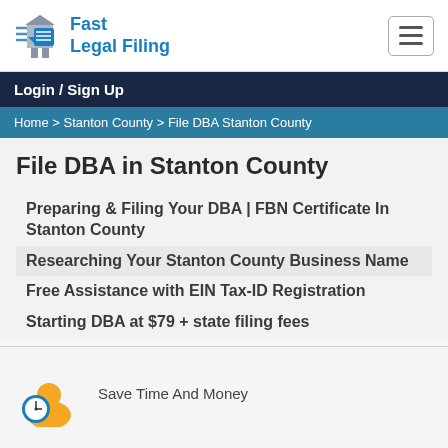[Figure (logo): Fast Legal Filing logo with courthouse icon and blue text]
Login / Sign Up
Home > Stanton County > File DBA Stanton County
File DBA in Stanton County
Preparing & Filing Your DBA | FBN Certificate In Stanton County
Researching Your Stanton County Business Name
Free Assistance with EIN Tax-ID Registration
Starting DBA at $79 + state filing fees
[Figure (illustration): Icon figure with clock and person, orange and blue colors]
Save Time And Money